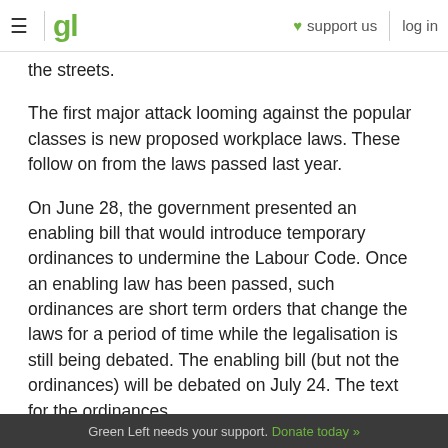≡ | gl  ♥ support us  log in
the streets.
The first major attack looming against the popular classes is new proposed workplace laws. These follow on from the laws passed last year.
On June 28, the government presented an enabling bill that would introduce temporary ordinances to undermine the Labour Code. Once an enabling law has been passed, such ordinances are short term orders that change the laws for a period of time while the legalisation is still being debated. The enabling bill (but not the ordinances) will be debated on July 24. The text for the ordinances
Green Left needs your support. Donate today »